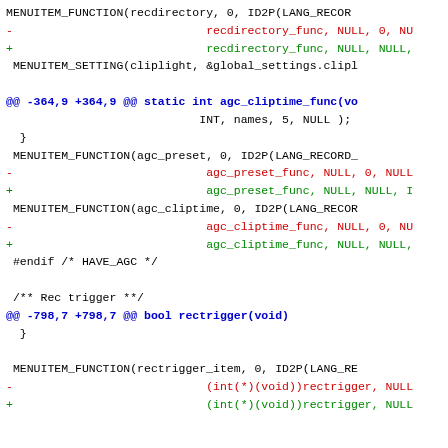MENUITEM_FUNCTION(recdirectory, 0, ID2P(LANG_RECOR...
-                           recdirectory_func, NULL, 0, NU
+                           recdirectory_func, NULL, NULL,
MENUITEM_SETTING(cliplight, &global_settings.clipl
@@ -364,9 +364,9 @@ static int agc_cliptime_func(vo
INT, names, 5, NULL );
}
MENUITEM_FUNCTION(agc_preset, 0, ID2P(LANG_RECORD_
-                           agc_preset_func, NULL, 0, NULL
+                           agc_preset_func, NULL, NULL, I
MENUITEM_FUNCTION(agc_cliptime, 0, ID2P(LANG_RECOR
-                           agc_cliptime_func, NULL, 0, NU
+                           agc_cliptime_func, NULL, NULL,
#endif /* HAVE_AGC */
/** Rec trigger **/
@@ -798,7 +798,7 @@ bool rectrigger(void)
}
MENUITEM_FUNCTION(rectrigger_item, 0, ID2P(LANG_RE
-                           (int(*)(void))rectrigger, NULL
+                           (int(*)(void))rectrigger, NULL
@@ -838,4 +838,4 @@ bool recording_menu(bool no_sou
};
MENUITEM_FUNCTION(recording_settings, MENU_FUNC_U...